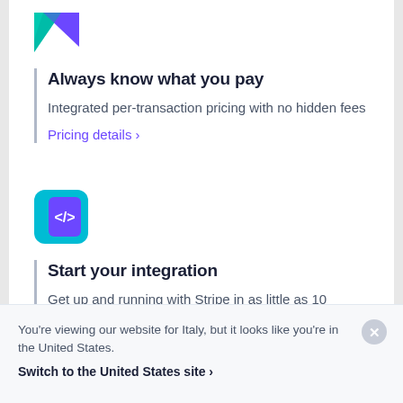[Figure (logo): Stripe logo icon - teal and purple triangular shape]
Always know what you pay
Integrated per-transaction pricing with no hidden fees
Pricing details >
[Figure (logo): Stripe API icon - teal background with purple code brackets symbol]
Start your integration
Get up and running with Stripe in as little as 10 minutes
API reference >
You're viewing our website for Italy, but it looks like you're in the United States.
Switch to the United States site >